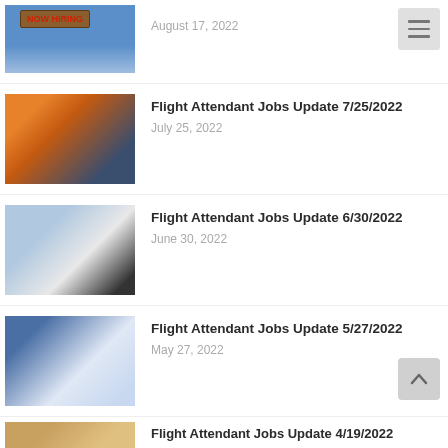[Figure (photo): Now Hiring sign against blue sky]
August 17, 2022
[Figure (photo): Airplane on runway at sunset with person holding luggage]
Flight Attendant Jobs Update 7/25/2022
July 25, 2022
[Figure (photo): Flight attendant smiling and shaking hands with passenger]
Flight Attendant Jobs Update 6/30/2022
June 30, 2022
[Figure (photo): Flight attendant serving passengers in airplane cabin]
Flight Attendant Jobs Update 5/27/2022
May 27, 2022
[Figure (photo): Partial image for Flight Attendant Jobs Update 4/19/2022]
Flight Attendant Jobs Update 4/19/2022